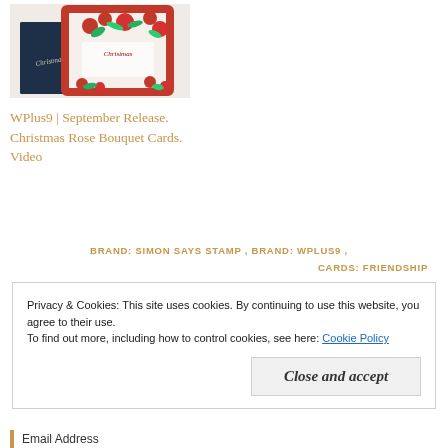[Figure (photo): Photo of Christmas cards with red floral rose bouquet design on a light background]
WPlus9 | September Release. Christmas Rose Bouquet Cards. Video
BRAND: SIMON SAYS STAMP , BRAND: WPLUS9 , CARDS: FRIENDSHIP
Privacy & Cookies: This site uses cookies. By continuing to use this website, you agree to their use.
To find out more, including how to control cookies, see here: Cookie Policy
Close and accept
Email Address